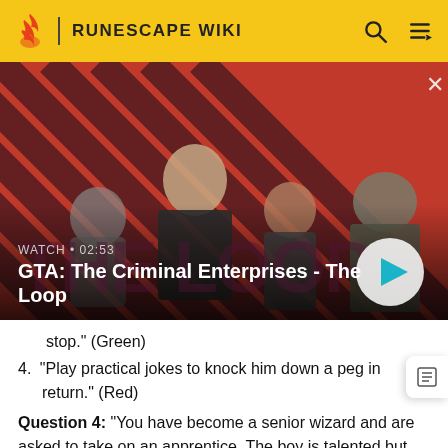RUNESCAPE WIKI
[Figure (screenshot): Video thumbnail for GTA: The Criminal Enterprises - The Loop. Shows four game characters on a red and dark diagonal striped background. Labels: WATCH • 02:53. Title: GTA: The Criminal Enterprises - The Loop. Play button visible on the right.]
stop." (Green)
4. "Play practical jokes to knock him down a peg in return." (Red)
Question 4: "You have become a senior wizard and are asked to take on an apprentice. The boy is talented but